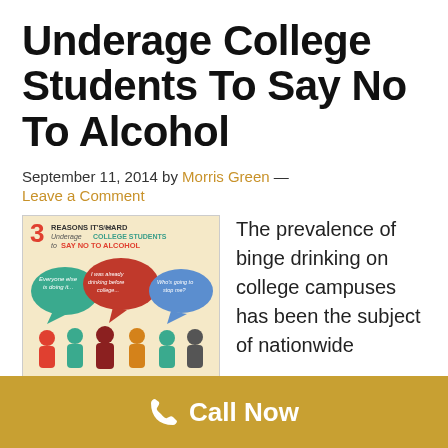Underage College Students To Say No To Alcohol
September 11, 2014 by Morris Green — Leave a Comment
[Figure (infographic): Infographic titled '3 Reasons It's Hard for Underage College Students to Say No to Alcohol' showing three speech bubbles: 'Everyone else is doing it...', 'I was already drinking before college...', 'Who's going to stop me?' above silhouettes of students, with labels: Underage Drinking, College Students, Community Awareness]
The prevalence of binge drinking on college campuses has been the subject of nationwide studies in an attempt to find ways to
Call Now